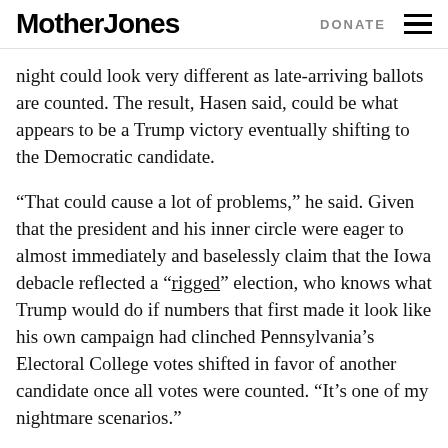Mother Jones | DONATE
night could look very different as late-arriving ballots are counted. The result, Hasen said, could be what appears to be a Trump victory eventually shifting to the Democratic candidate.
“That could cause a lot of problems,” he said. Given that the president and his inner circle were eager to almost immediately and baselessly claim that the Iowa debacle reflected a “rigged” election, who knows what Trump would do if numbers that first made it look like his own campaign had clinched Pennsylvania’s Electoral College votes shifted in favor of another candidate once all votes were counted. “It’s one of my nightmare scenarios.”